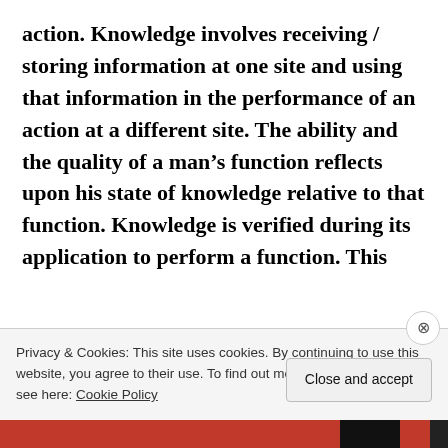action. Knowledge involves receiving / storing information at one site and using that information in the performance of an action at a different site. The ability and the quality of a man's function reflects upon his state of knowledge relative to that function. Knowledge is verified during its application to perform a function. This
Privacy & Cookies: This site uses cookies. By continuing to use this website, you agree to their use. To find out more, including how to control cookies, see here: Cookie Policy